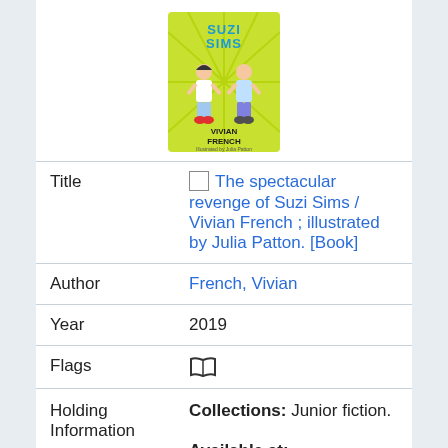[Figure (illustration): Book cover for 'The Spectacular Revenge of Suzi Sims' by Vivian French, illustrated by Julia Patton. Green cover with two cartoon children.]
| Title | The spectacular revenge of Suzi Sims / Vivian French ; illustrated by Julia Patton. [Book] |
| Author | French, Vivian |
| Year | 2019 |
| Flags | [book icon] |
| Holding Information | Collections: Junior fiction.
Available at: Smithfield Branch.
Number of Holdings: |